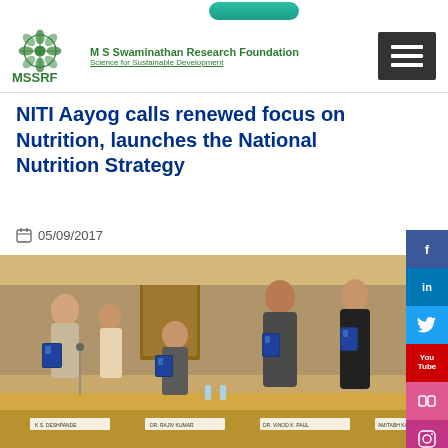MSSRF — M S Swaminathan Research Foundation — Science for Sustainable Development
NITI Aayog calls renewed focus on Nutrition, launches the National Nutrition Strategy
05/09/2017
[Figure (photo): Group of officials standing and holding copies of the National Nutrition Strategy document at a conference table, with name plates visible at the bottom including K.S. Deshpande, Dr. Rajiv Kumar, Dr. Vinod K. Paul, and Amitabh Kant.]